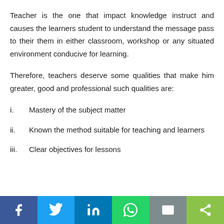Teacher is the one that impact knowledge instruct and causes the learners student to understand the message pass to their them in either classroom, workshop or any situated environment conducive for learning.
Therefore, teachers deserve some qualities that make him greater, good and professional such qualities are:
i.   Mastery of the subject matter
ii.   Known the method suitable for teaching and learners
iii.   Clear objectives for lessons